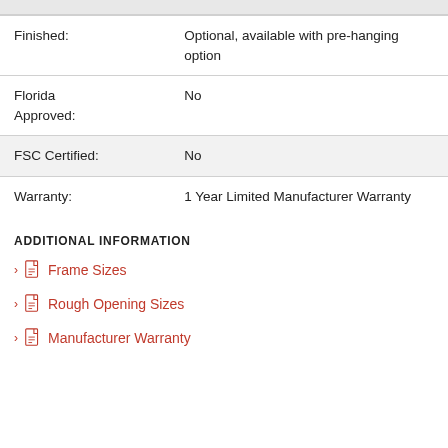| Attribute | Value |
| --- | --- |
| Finished: | Optional, available with pre-hanging option |
| Florida Approved: | No |
| FSC Certified: | No |
| Warranty: | 1 Year Limited Manufacturer Warranty |
ADDITIONAL INFORMATION
Frame Sizes
Rough Opening Sizes
Manufacturer Warranty